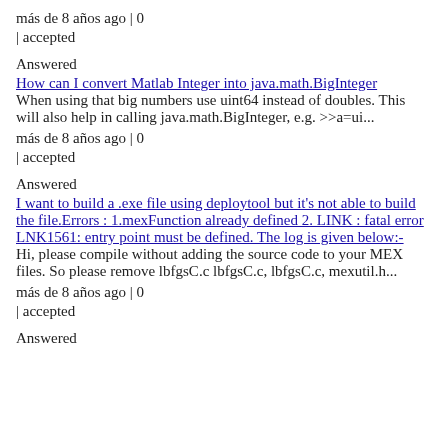más de 8 años ago | 0
| accepted
Answered
How can I convert Matlab Integer into java.math.BigInteger
When using that big numbers use uint64 instead of doubles. This will also help in calling java.math.BigInteger, e.g. >>a=ui...
más de 8 años ago | 0
| accepted
Answered
I want to build a .exe file using deploytool but it's not able to build the file.Errors : 1.mexFunction already defined 2. LINK : fatal error LNK1561: entry point must be defined. The log is given below:-
Hi, please compile without adding the source code to your MEX files. So please remove lbfgsC.c lbfgsC.c, lbfgsC.c, mexutil.h...
más de 8 años ago | 0
| accepted
Answered